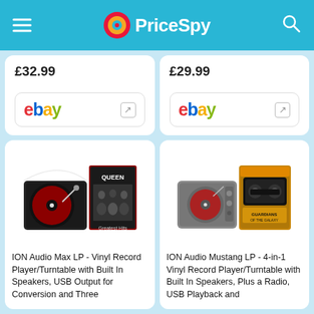PriceSpy
£32.99
[Figure (logo): eBay logo with external link icon]
£29.99
[Figure (logo): eBay logo with external link icon]
[Figure (photo): ION Audio Max LP turntable with Queen Greatest Hits album]
ION Audio Max LP - Vinyl Record Player/Turntable with Built In Speakers, USB Output for Conversion and Three
[Figure (photo): ION Audio Mustang LP turntable with Guardians of the Galaxy cassette tape]
ION Audio Mustang LP - 4-in-1 Vinyl Record Player/Turntable with Built In Speakers, Plus a Radio, USB Playback and